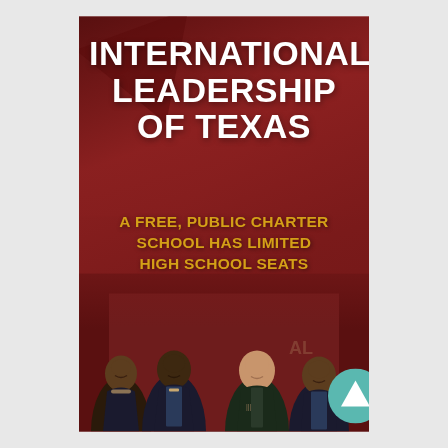INTERNATIONAL LEADERSHIP OF TEXAS
A FREE, PUBLIC CHARTER SCHOOL HAS LIMITED HIGH SCHOOL SEATS AVAILABLE FOR THE '22-'23 SCHOOL YEAR
[Figure (photo): Group of four smiling high school students in school uniforms (blazers and ties) posed together against a brick building background]